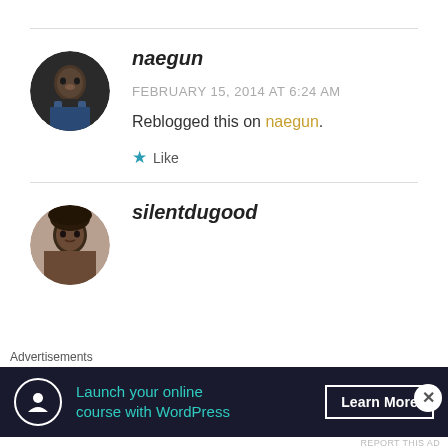naegun
FEBRUARY 15, 2014 AT 6:24 AM
Reblogged this on naegun.
Like
silentdugood
Advertisements
Launch your online course with WordPress
Learn More